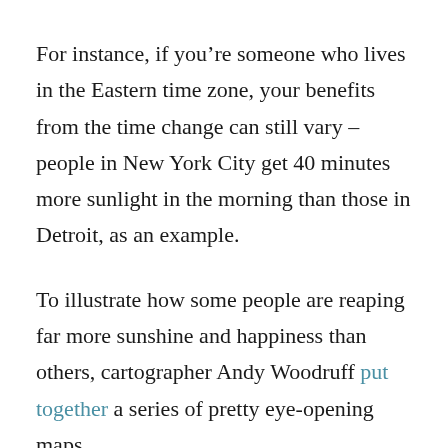For instance, if you’re someone who lives in the Eastern time zone, your benefits from the time change can still vary – people in New York City get 40 minutes more sunlight in the morning than those in Detroit, as an example.
To illustrate how some people are reaping far more sunshine and happiness than others, cartographer Andy Woodruff put together a series of pretty eye-opening maps.
In this one, the map on the left shows how many